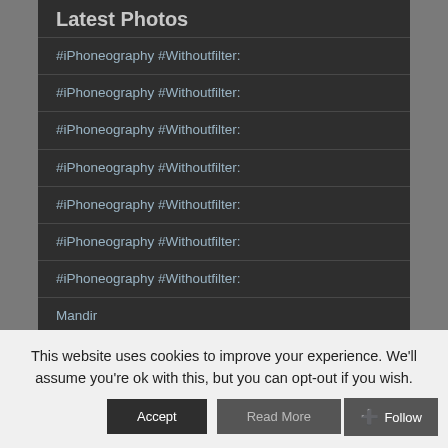Latest Photos
#iPhoneography #Withoutfilter:
#iPhoneography #Withoutfilter:
#iPhoneography #Withoutfilter:
#iPhoneography #Withoutfilter:
#iPhoneography #Withoutfilter:
#iPhoneography #Withoutfilter:
#iPhoneography #Withoutfilter:
Mandir
She
This website uses cookies to improve your experience. We'll assume you're ok with this, but you can opt-out if you wish.
Accept | Read More | + Follow